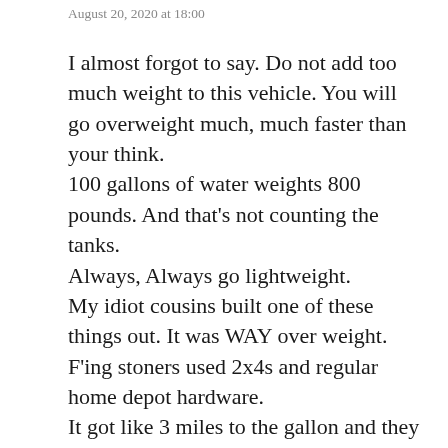August 20, 2020 at 18:00
I almost forgot to say. Do not add too much weight to this vehicle. You will go overweight much, much faster than your think.
100 gallons of water weights 800 pounds. And that's not counting the tanks.
Always, Always go lightweight.
My idiot cousins built one of these things out. It was WAY over weight.
F'ing stoners used 2x4s and regular home depot hardware.
It got like 3 miles to the gallon and they couldn't even afford to refuel it for the ride home. They abandoned it about 200 miles from their starting point.